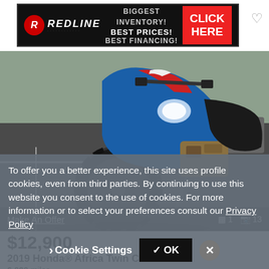[Figure (infographic): Redline Powersports banner advertisement: black background with Redline logo (R icon), text BIGGEST INVENTORY! BEST PRICES! BEST FINANCING! and a red CLICK HERE CTA button]
[Figure (photo): 2019 Honda Africa Twin CRF1000L motorcycle in blue/red/white colorway parked on asphalt parking lot, front-facing view showing front wheel, forks, and headlight area]
Make An Offer
1  13
$12,900
2019 Honda® Africa Twin CRF1000L
6,020 miles
Redline Powersports Commonwealth
Prince George, VA - 125 mi. away
To offer you a better experience, this site uses profile cookies, even from third parties. By continuing to use this website you consent to the use of cookies. For more information or to select your preferences consult our Privacy Policy
Cookie Settings
✓ OK